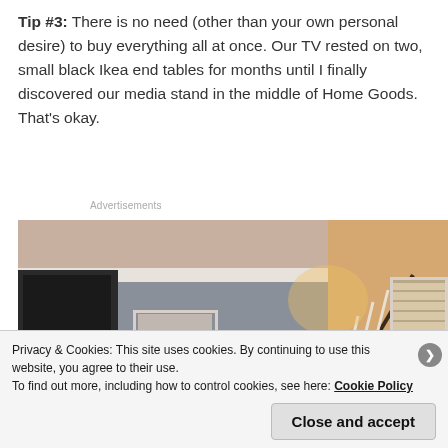Tip #3:  There is no need (other than your own personal desire) to buy everything all at once.  Our TV rested on two, small black Ikea end tables for months until I finally discovered our media stand in the middle of Home Goods.  That's okay.
Advertisements
[Figure (photo): Interior home photo showing a gray wall with white crown molding, framed artwork on the wall, a staircase railing visible on the right side, lit by warm ambient light]
Privacy & Cookies: This site uses cookies. By continuing to use this website, you agree to their use.
To find out more, including how to control cookies, see here: Cookie Policy
Close and accept